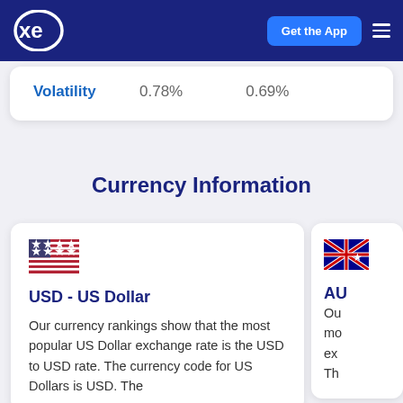xe — Get the App
| Volatility |  |  |
| --- | --- | --- |
| Volatility | 0.78% | 0.69% |
Currency Information
[Figure (other): US flag icon]
USD - US Dollar
Our currency rankings show that the most popular US Dollar exchange rate is the USD to USD rate. The currency code for US Dollars is USD. The
[Figure (other): Australian flag icon (partially visible)]
AU